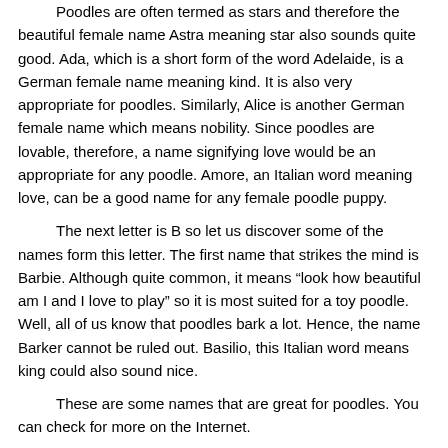Poodles are often termed as stars and therefore the beautiful female name Astra meaning star also sounds quite good. Ada, which is a short form of the word Adelaide, is a German female name meaning kind. It is also very appropriate for poodles. Similarly, Alice is another German female name which means nobility. Since poodles are lovable, therefore, a name signifying love would be an appropriate for any poodle. Amore, an Italian word meaning love, can be a good name for any female poodle puppy.
The next letter is B so let us discover some of the names form this letter. The first name that strikes the mind is Barbie. Although quite common, it means “look how beautiful am I and I love to play” so it is most suited for a toy poodle. Well, all of us know that poodles bark a lot. Hence, the name Barker cannot be ruled out. Basilio, this Italian word means king could also sound nice.
These are some names that are great for poodles. You can check for more on the Internet.
More Articles :
How Do You Groom A Poodle ?
How Much Does A Toy Poodle Weigh ?
Names For Poodle Dogs
Poodle Haircut Styles